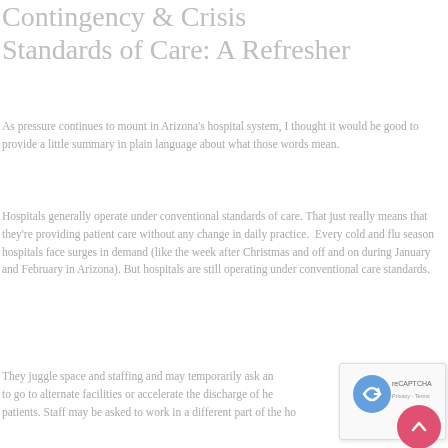Contingency & Crisis Standards of Care: A Refresher
As pressure continues to mount in Arizona's hospital system, I thought it would be good to provide a little summary in plain language about what those words mean.
Hospitals generally operate under conventional standards of care. That just really means that they're providing patient care without any change in daily practice.  Every cold and flu season hospitals face surges in demand (like the week after Christmas and off and on during January and February in Arizona). But hospitals are still operating under conventional care standards.
They juggle space and staffing and may temporarily ask an to go to alternate facilities or accelerate the discharge of he patients. Staff may be asked to work in a different part of the ho